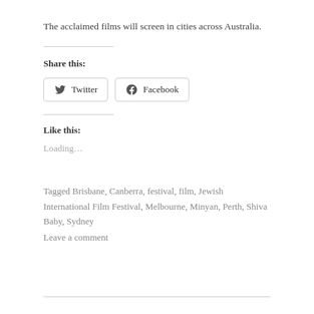The acclaimed films will screen in cities across Australia.
Share this:
[Figure (other): Share buttons for Twitter and Facebook]
Like this:
Loading...
Tagged Brisbane, Canberra, festival, film, Jewish International Film Festival, Melbourne, Minyan, Perth, Shiva Baby, Sydney
Leave a comment